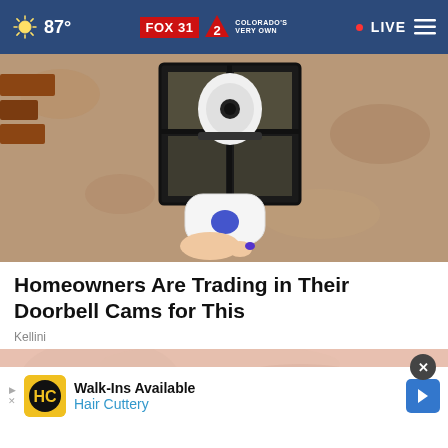87° FOX 31 2 COLORADO'S VERY OWN · LIVE
[Figure (photo): Close-up photo of a person pressing a white wireless doorbell camera device installed next to a black lantern-style outdoor light fixture on a textured stucco wall.]
Homeowners Are Trading in Their Doorbell Cams for This
Kellini
[Figure (photo): Partial view of a pink/beige textured background with a Hair Cuttery advertisement overlay showing: Walk-Ins Available / Hair Cuttery, with HC logo in yellow/black and a blue arrow icon on the right.]